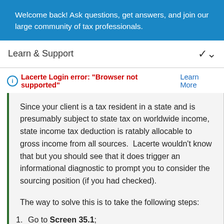Welcome back! Ask questions, get answers, and join our large community of tax professionals.
Learn & Support
Lacerte Login error: "Browser not supported" Learn More
Since your client is a tax resident in a state and is presumably subject to state tax on worldwide income, state income tax deduction is ratably allocable to gross income from all sources.  Lacerte wouldn't know that but you should see that it does trigger an informational diagnostic to prompt you to consider the sourcing position (if you had checked).

The way to solve this is to take the following steps:
Go to Screen 35.1;